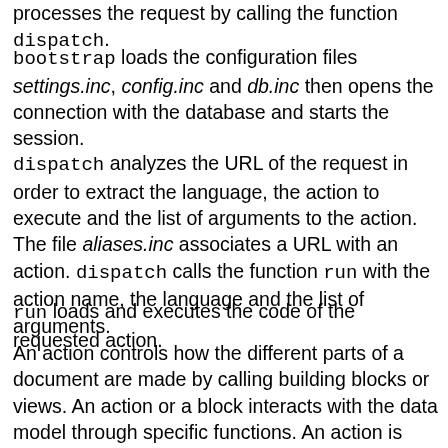processes the request by calling the function dispatch.
bootstrap loads the configuration files settings.inc, config.inc and db.inc then opens the connection with the database and starts the session.
dispatch analyzes the URL of the request in order to extract the language, the action to execute and the list of arguments to the action. The file aliases.inc associates a URL with an action. dispatch calls the function run with the action name, the language and the list of arguments.
run loads and executes the code of the requested action.
An action controls how the different parts of a document are made by calling building blocks or views. An action or a block interacts with the data model through specific functions. An action is generally associated to a URL. A block, never. An action can be called by another action. A block can be built with other blocks. Views can be language dependent or not. Some views are integrated by the view of the action. The other ones are transmitted to the function...